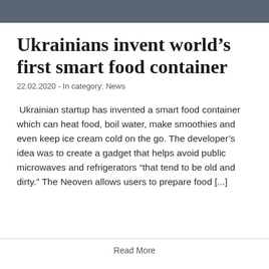Ukrainians invent world’s first smart food container
22.02.2020 - In category: News
Ukrainian startup has invented a smart food container which can heat food, boil water, make smoothies and even keep ice cream cold on the go. The developer’s idea was to create a gadget that helps avoid public microwaves and refrigerators “that tend to be old and dirty.” The Neoven allows users to prepare food [...]
Read More